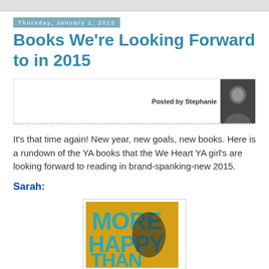Thursday, January 1, 2015
Books We're Looking Forward to in 2015
[Figure (photo): Author box with 'Posted by Stephanie' text and a black-and-white photo of Stephanie on the right side, with a dashed line at the bottom]
It's that time again! New year, new goals, new books. Here is a rundown of the YA books that the We Heart YA girl's are looking forward to reading in brand-spanking-new 2015.
Sarah:
[Figure (photo): Book cover of 'More Happy Than Not' with yellow background and large blue/teal text reading MORE HAPPY THAN NOT]